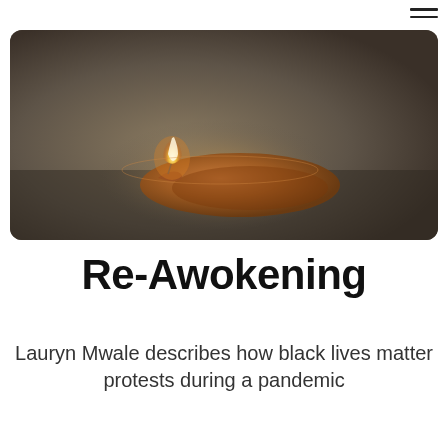[Figure (photo): A clay oil lamp (diya) with a small flame, resting on a dark grey surface. The lamp is round, terracotta-brown, with a flame burning at one end. The image has a warm, muted, slightly desaturated tone.]
Re-Awokening
Lauryn Mwale describes how black lives matter protests during a pandemic